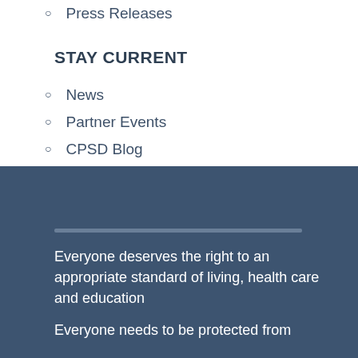Press Releases
STAY CURRENT
News
Partner Events
CPSD Blog
Everyone deserves the right to an appropriate standard of living, health care and education
Everyone needs to be protected from